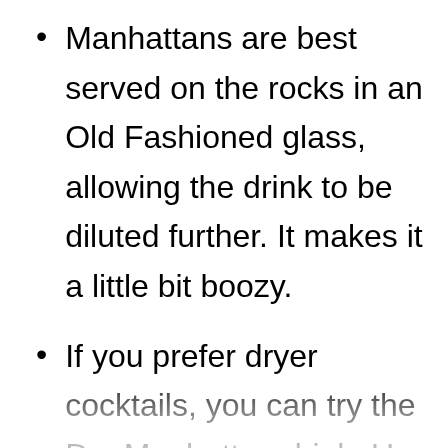Manhattans are best served on the rocks in an Old Fashioned glass, allowing the drink to be diluted further. It makes it a little bit boozy.
If you prefer dryer cocktails, you can try the Dry Manhattan drink. Use dry vermouth and garnish it with lemon.
Garnish how you like. Once you mix all the ingredients, pour the